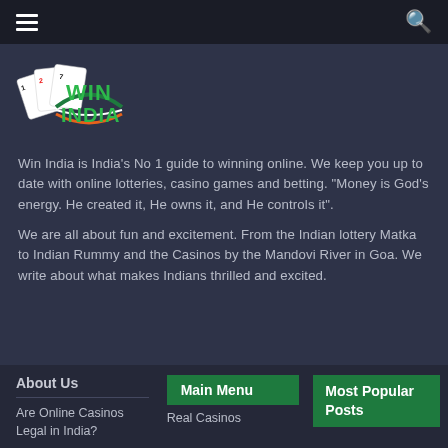Navigation bar with hamburger menu and search icon
[Figure (logo): Win India logo with playing cards graphic, green text WIN INDIA, and Indian flag colored swoosh]
Win India is India's No 1 guide to winning online. We keep you up to date with online lotteries, casino games and betting. "Money is God's energy. He created it, He owns it, and He controls it".
We are all about fun and excitement. From the Indian lottery Matka to Indian Rummy and the Casinos by the Mandovi River in Goa. We write about what makes Indians thrilled and excited.
About Us
Are Online Casinos Legal in India?
Main Menu
Real Casinos
Most Popular Posts